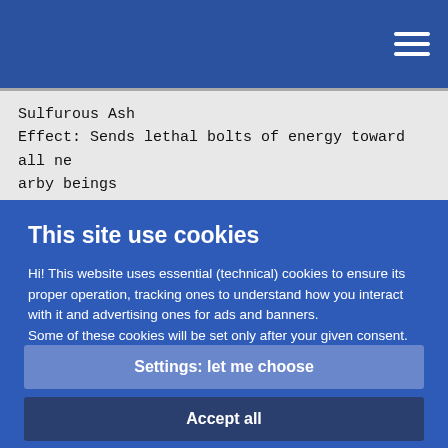Sulfurous Ash
Effect: Sends lethal bolts of energy toward all nearby beings
This site use cookies
Hi! This website uses essential (technical) cookies to ensure its proper operation, tracking ones to understand how you interact with it and advertising ones for ads and banners.
Some of these cookies will be set only after your given consent.
Please read the privacy policy and the cookie policy. You can of course accept only strictly necessary.
Settings: let me choose
Accept all